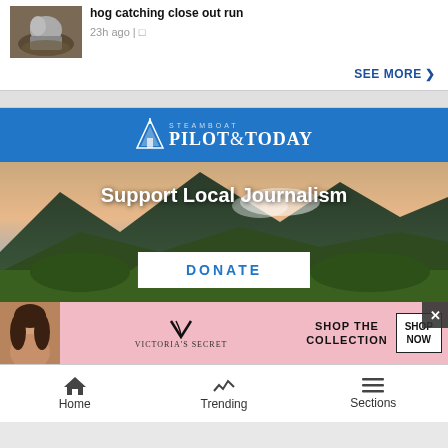[Figure (photo): Horse in dirt/mud action photo thumbnail]
hog catching close out run
23h ago |
SEE MORE >
[Figure (logo): Steamboat Pilot & Today logo on blue background]
[Figure (photo): Mountain landscape with forest and sky background with Support Local Journalism text and DONATE button]
[Figure (photo): Victoria's Secret advertisement with woman photo, VS logo, Shop the Collection text, and Shop Now button]
Home    Trending    Sections